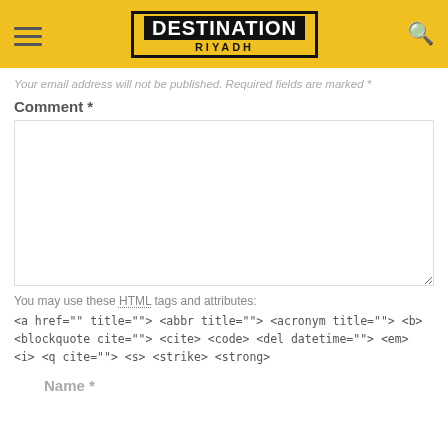Destination Riyadh
Your email address will not be published. Required fields are marked *
Comment *
You may use these HTML tags and attributes:
<a href="" title=""> <abbr title=""> <acronym title=""> <b> <blockquote cite=""> <cite> <code> <del datetime=""> <em> <i> <q cite=""> <s> <strike> <strong>
Name *